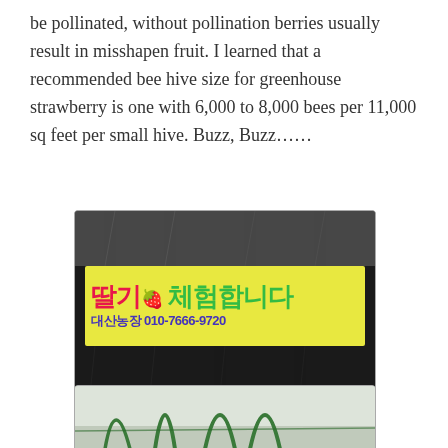be pollinated, without pollination berries usually result in misshapen fruit. I learned that a recommended bee hive size for greenhouse strawberry is one with 6,000 to 8,000 bees per 11,000 sq feet per small hive. Buzz, Buzz……
[Figure (photo): A Korean agricultural greenhouse exterior with a yellow banner sign reading Korean text (딸기 체험합니다) and contact info (대산농장 010-7666-9720) in colorful lettering against a dark plastic greenhouse wall. Watermark: backpackers.com]
[Figure (photo): Partial view of greenhouse interior showing green structural support poles/arches against a light sky background.]